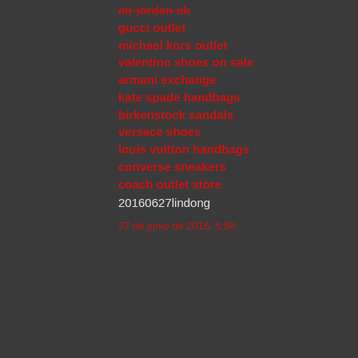air jordan uk
gucci outlet
michael kors outlet
valentino shoes on sale
armani exchange
kate spade handbags
birkenstock sandals
versace shoes
louis vuitton handbags
converse sneakers
coach outlet store
20160627lindong
27 de junio de 2016, 5:58
xjd7410@gmail.com dijo...
20160914 junda
mulberry handbags
uggs on sale
uggs on sale